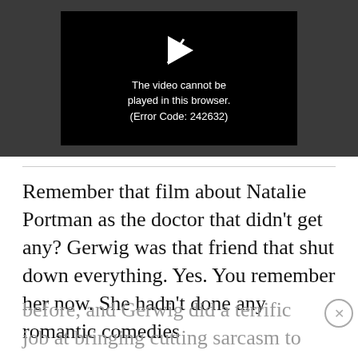[Figure (screenshot): Video player showing error message: 'The video cannot be played in this browser. (Error Code: 242632)' with a play icon, on a dark background.]
Remember that film about Natalie Portman as the doctor that didn't get any? Gerwig was that friend that shut down everything. Yes. You remember her now. She hadn't done any romantic comedies before, and Gerwig did a terrific job at bringing cutting sarcasm to the otherwise gooey film.